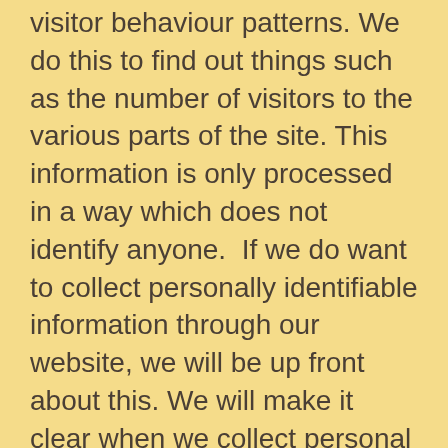visitor behaviour patterns. We do this to find out things such as the number of visitors to the various parts of the site. This information is only processed in a way which does not identify anyone.  If we do want to collect personally identifiable information through our website, we will be up front about this. We will make it clear when we collect personal information and will explain what we intend to do with it.
Security and Performance